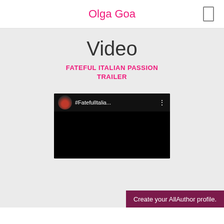Olga Goa
Video
FATEFUL ITALIAN PASSION TRAILER
[Figure (screenshot): Video thumbnail showing a black background with a circular avatar of a woman in a dark cap and a title '#FatefulItalia...' with a vertical dots menu icon]
Create your AllAuthor profile.